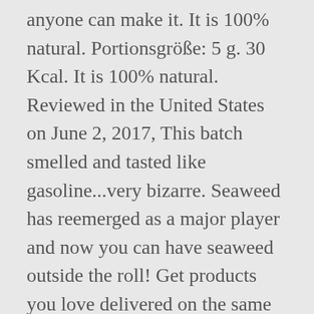anyone can make it. It is 100% natural. Portionsgröße: 5 g. 30 Kcal. It is 100% natural. Reviewed in the United States on June 2, 2017, This batch smelled and tasted like gasoline...very bizarre. Seaweed has reemerged as a major player and now you can have seaweed outside the roll! Get products you love delivered on the same day by Instacart. What We Liked. The pouches arrived the original 24 pack box that was inside an amazon box. Price: $14.99 ($3.67 / Ounce) FREE Shipping on your first order. The last time I was at Costco there was a new Kirkland Brand of Roasted Seasoned Seaweed for sale. Roasted Seaweed Snack – Wasabi (24 pk) USDA Organic Seaweed – Sea Salt. 1.00g. This is a great